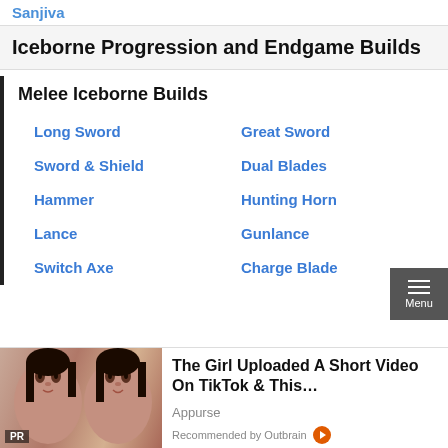Sanjiva
Iceborne Progression and Endgame Builds
Melee Iceborne Builds
Long Sword
Great Sword
Sword & Shield
Dual Blades
Hammer
Hunting Horn
Lance
Gunlance
Switch Axe
Charge Blade
[Figure (photo): Advertisement: Two young women faces. PR badge. The Girl Uploaded A Short Video On TikTok & This... Appurse. Recommended by Outbrain.]